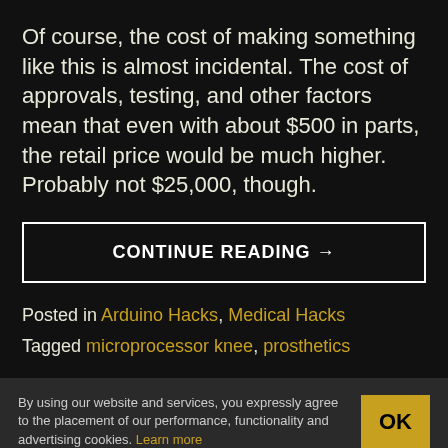Of course, the cost of making something like this is almost incidental. The cost of approvals, testing, and other factors mean that even with about $500 in parts, the retail price would be much higher. Probably not $25,000, though.
CONTINUE READING →
Posted in Arduino Hacks, Medical Hacks
Tagged microprocessor knee, prosthetics
By using our website and services, you expressly agree to the placement of our performance, functionality and advertising cookies. Learn more
OK